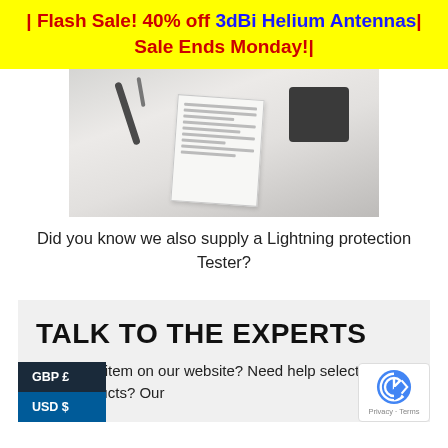| Flash Sale! 40% off 3dBi Helium Antennas| Sale Ends Monday!|
[Figure (photo): Photo of a lightning protection tester device with cables and documentation on a desk]
Did you know we also supply a Lightning protection Tester?
TALK TO THE EXPERTS
Can't find an item on our website? Need help selecting the right products? Our